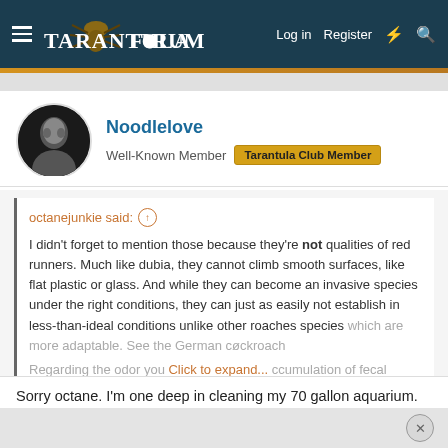TarantulaForum — Log in  Register
Noodlelove
Well-Known Member  Tarantula Club Member
octanejunkie said: ↑

I didn't forget to mention those because they're not qualities of red runners. Much like dubia, they cannot climb smooth surfaces, like flat plastic or glass. And while they can become an invasive species under the right conditions, they can just as easily not establish in less-than-ideal conditions unlike other roaches species which are more adaptable. See the German cockroach

Regarding the odor you... Click to expand...
Sorry octane. I'm one deep in cleaning my 70 gallon aquarium. You are awesome and thank you for all your shared experience